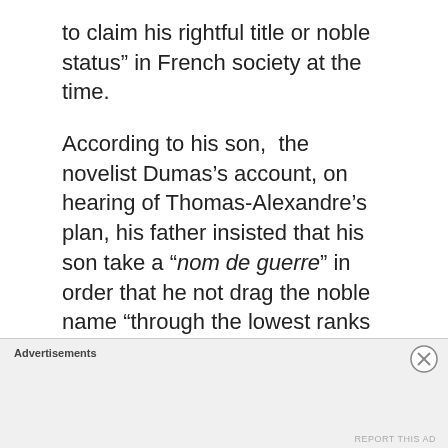to claim his rightful title or noble status” in French society at the time.
According to his son, the novelist Dumas’s account, on hearing of Thomas-Alexandre’s plan, his father insisted that his son take a “nom de guerre” in order that he not drag the noble name “through the lowest ranks of the army”. He signed up for the 6th Regiment of the Queen’s Dragoons as “Alexandre Dumas” the first record of
Advertisements